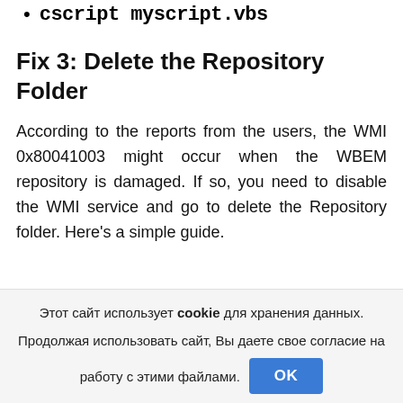cscript myscript.vbs
Fix 3: Delete the Repository Folder
According to the reports from the users, the WMI 0x80041003 might occur when the WBEM repository is damaged. If so, you need to disable the WMI service and go to delete the Repository folder. Here's a simple guide.
Этот сайт использует cookie для хранения данных. Продолжая использовать сайт, Вы даете свое согласие на работу с этими файлами.
OK